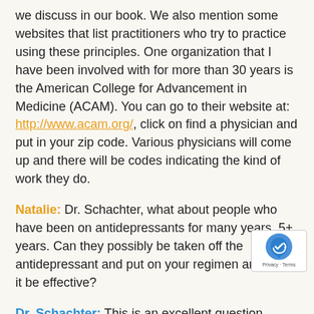we discuss in our book. We also mention some websites that list practitioners who try to practice using these principles. One organization that I have been involved with for more than 30 years is the American College for Advancement in Medicine (ACAM). You can go to their website at: http://www.acam.org/, click on find a physician and put in your zip code. Various physicians will come up and there will be codes indicating the kind of work they do.
Natalie: Dr. Schachter, what about people who have been on antidepressants for many years, 5+ years. Can they possibly be taken off the antidepressant and put on your regimen and have it be effective?
Dr. Schachter: This is an excellent question. Whether or not there may be some permanent and irreversible changes in the brain when someone is on an antidepressant for many years is controversial. What often happens when a person is on an antidepressant for